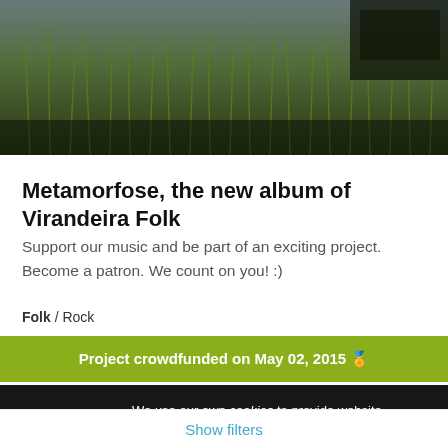[Figure (photo): Outdoor nature photo showing tall grass/wheat stalks against sky, with partial silhouette of people/vehicle in background]
Metamorfose, the new album of Virandeira Folk
Support our music and be part of an exciting project. Become a patron. We count on you! :)
Folk / Rock
Project crowdfunded on May 02, 2015
We use our own cookies to provide website functionality and third party cookies to analyze traffic and serve targeted advertisements based on your surfing habits. You can accept all cookies by clicking "Accept" or obtain more information and set your preferences here.
Accept
Show filters